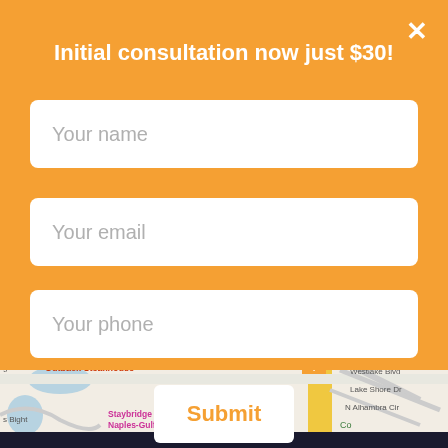Initial consultation now just $30!
[Figure (screenshot): Web form modal with orange background containing name, email, phone input fields and a Submit button, overlaid on a Google Maps view of Naples-Gulf Coast area showing Outback Steakhouse, Staybridge Suites, Park Shore, and surrounding roads.]